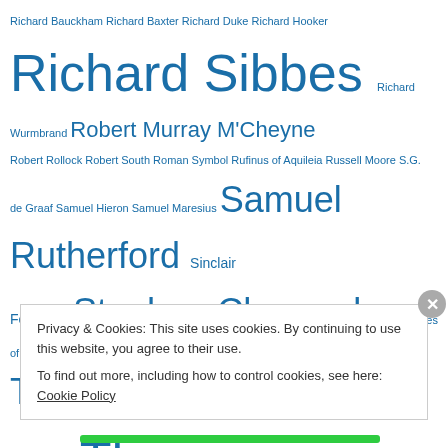Richard Bauckham Richard Baxter Richard Duke Richard Hooker Richard Sibbes Richard Wurmbrand Robert Murray M'Cheyne Robert Rollock Robert South Roman Symbol Rufinus of Aquileia Russell Moore S.G. de Graaf Samuel Hieron Samuel Maresius Samuel Rutherford Sinclair Ferguson Stephen Charnock Ten Theses of Berne Tertullian Theodore Beza Theodoret Thirty-Nine Articles Thomas Allen Thomas Aquinas Thomas Barlow Thomas Boston Thomas Brooks Thomas Cartwright Thomas Chalmers Thomas Cranmer Thomas Goodwin Thomas Manton Thomas Schreiner Thomas Shepard Thomas Watson Thomas à Kempis Tim Keller W.B. Sprague Waldenses Walter
Privacy & Cookies: This site uses cookies. By continuing to use this website, you agree to their use.
To find out more, including how to control cookies, see here: Cookie Policy
Close and accept